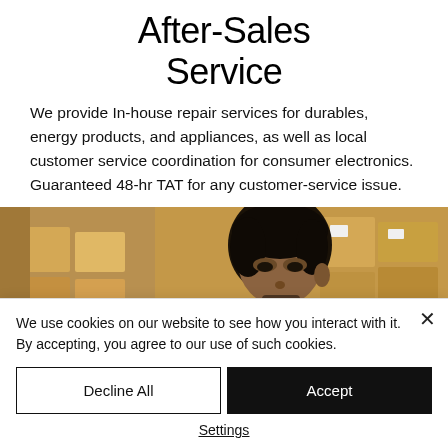After-Sales Service
We provide In-house repair services for durables, energy products, and appliances, as well as local customer service coordination for consumer electronics. Guaranteed 48-hr TAT for any customer-service issue.
[Figure (photo): A person working in a warehouse surrounded by cardboard boxes on shelves]
We use cookies on our website to see how you interact with it. By accepting, you agree to our use of such cookies.
Decline All   Accept
Settings